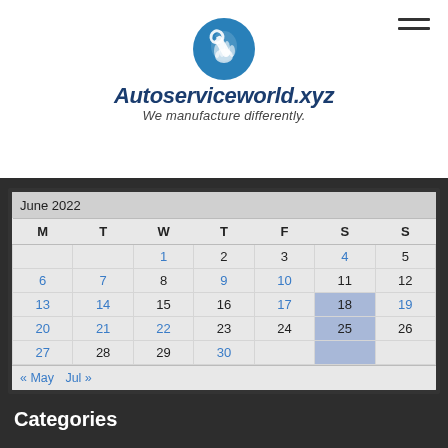[Figure (logo): Autoserviceworld.xyz logo with blue wrench circle icon, bold italic dark blue text 'Autoserviceworld.xyz' and italic subtitle 'We manufacture differently.']
| M | T | W | T | F | S | S |
| --- | --- | --- | --- | --- | --- | --- |
|  |  | 1 | 2 | 3 | 4 | 5 |
| 6 | 7 | 8 | 9 | 10 | 11 | 12 |
| 13 | 14 | 15 | 16 | 17 | 18 | 19 |
| 20 | 21 | 22 | 23 | 24 | 25 | 26 |
| 27 | 28 | 29 | 30 |  |  |  |
Categories